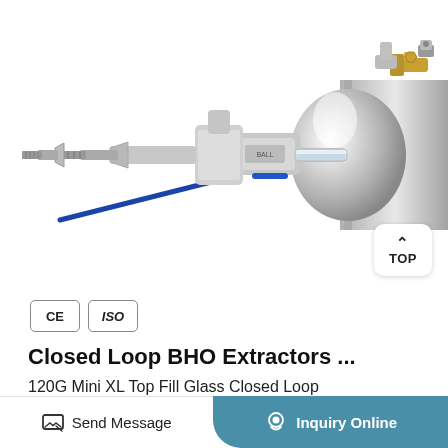[Figure (photo): Close-up photo of a stainless steel Closed Loop BHO Extractor showing valve fittings, ball valve with blue handle, a glass sight tube, and brass fitting on a cylindrical vessel with sanitary clamp]
[Figure (other): TOP navigation button with upward chevron arrow, rounded rectangle white button]
[Figure (other): CE and ISO certification badges/logos]
Closed Loop BHO Extractors ...
120G Mini XL Top Fill Glass Closed Loop Extractor Pressure And Explosion BHO ...